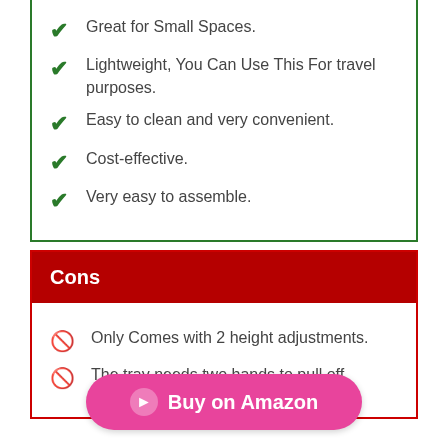Great for Small Spaces.
Lightweight, You Can Use This For travel purposes.
Easy to clean and very convenient.
Cost-effective.
Very easy to assemble.
Cons
Only Comes with 2 height adjustments.
The tray needs two hands to pull off.
Buy on Amazon